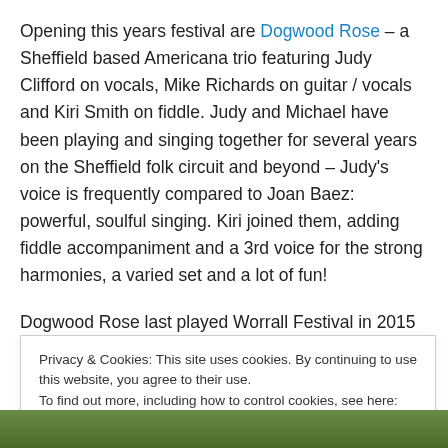Opening this years festival are Dogwood Rose – a Sheffield based Americana trio featuring Judy Clifford on vocals, Mike Richards on guitar / vocals and Kiri Smith on fiddle. Judy and Michael have been playing and singing together for several years on the Sheffield folk circuit and beyond – Judy's voice is frequently compared to Joan Baez: powerful, soulful singing. Kiri joined them, adding fiddle accompaniment and a 3rd voice for the strong harmonies, a varied set and a lot of fun!
Dogwood Rose last played Worrall Festival in 2015 and
Privacy & Cookies: This site uses cookies. By continuing to use this website, you agree to their use. To find out more, including how to control cookies, see here: Cookie Policy
[Figure (photo): Photo strip at bottom of page showing partial view of people outdoors]